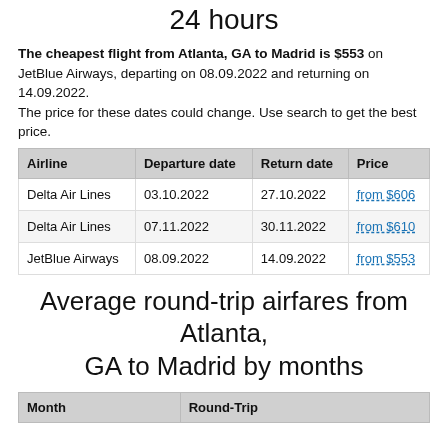24 hours
The cheapest flight from Atlanta, GA to Madrid is $553 on JetBlue Airways, departing on 08.09.2022 and returning on 14.09.2022.
The price for these dates could change. Use search to get the best price.
| Airline | Departure date | Return date | Price |
| --- | --- | --- | --- |
| Delta Air Lines | 03.10.2022 | 27.10.2022 | from $606 |
| Delta Air Lines | 07.11.2022 | 30.11.2022 | from $610 |
| JetBlue Airways | 08.09.2022 | 14.09.2022 | from $553 |
Average round-trip airfares from Atlanta, GA to Madrid by months
| Month | Round-Trip |
| --- | --- |